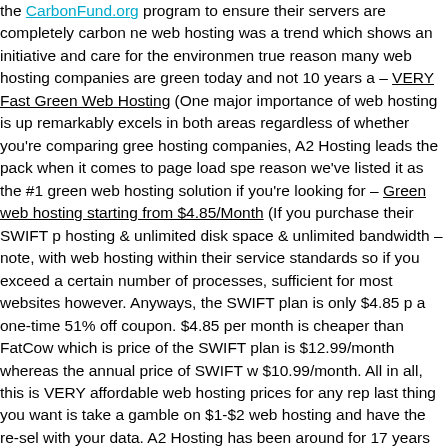the CarbonFund.org program to ensure their servers are completely carbon ne web hosting was a trend which shows an initiative and care for the environmen true reason many web hosting companies are green today and not 10 years a – VERY Fast Green Web Hosting (One major importance of web hosting is up remarkably excels in both areas regardless of whether you're comparing gree hosting companies, A2 Hosting leads the pack when it comes to page load sp reason we've listed it as the #1 green web hosting solution if you're looking for – Green web hosting starting from $4.85/Month (If you purchase their SWIFT p hosting & unlimited disk space & unlimited bandwidth – note, with web hosting within their service standards so if you exceed a certain number of processes, sufficient for most websites however. Anyways, the SWIFT plan is only $4.85 p a one-time 51% off coupon. $4.85 per month is cheaper than FatCow which is price of the SWIFT plan is $12.99/month whereas the annual price of SWIFT w $10.99/month. All in all, this is VERY affordable web hosting prices for any rep last thing you want is take a gamble on $1-$2 web hosting and have the re-sel with your data. A2 Hosting has been around for 17 years and own their own da in various cities like Singapore, Arizona, or Amsterdam. Basically, if you make year plan – the green web hosting price is incredible for the speed and service $12.99 it is a reasonable price to expect for quality and reputable web hosting. web hosting at $0.99/month but honestly NO web hosting company can surviv expect your data to disappear when they dash. Imagine even the time it takes you pay someone 0.99 for 20 minutes of their time?)
=> Click here for 51% off A2 Hosting. Green Web Hosting at $4.85/month.
(If you purchase through our affiliate link, please shoot an email here and we'd services.)